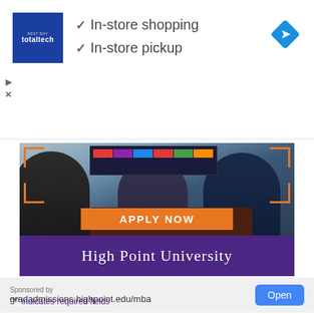[Figure (screenshot): Top ad banner for Best Buy Total Tech membership showing logo, checkmarks for In-store shopping and In-store pickup, and a blue navigation diamond icon]
✓ In-store shopping
✓ In-store pickup
[Figure (photo): High Point University advertisement showing three professionals in a meeting room, with orange APPLY NOW button and purple High Point University banner]
Sponsored by
gradadmissions.highpoint.edu/mba
Open
"*" indicates required fields